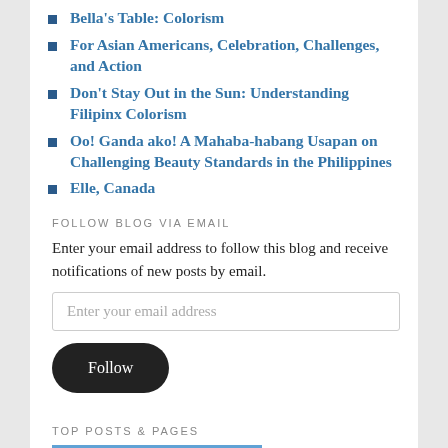Bella's Table: Colorism
For Asian Americans, Celebration, Challenges, and Action
Don't Stay Out in the Sun: Understanding Filipinx Colorism
Oo! Ganda ako! A Mahaba-habang Usapan on Challenging Beauty Standards in the Philippines
Elle, Canada
FOLLOW BLOG VIA EMAIL
Enter your email address to follow this blog and receive notifications of new posts by email.
Enter your email address
Follow
TOP POSTS & PAGES
[Figure (photo): Partial view of a colorful outdoor scene or event venue]